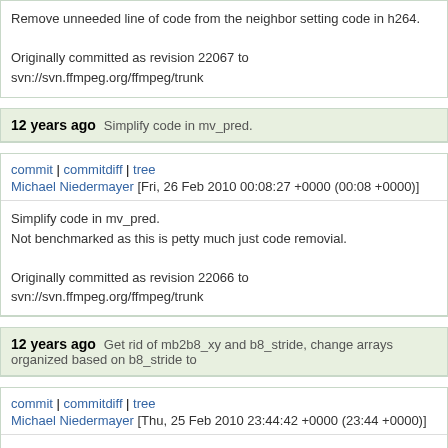Remove unneeded line of code from the neighbor setting code in h264.

Originally committed as revision 22067 to svn://svn.ffmpeg.org/ffmpeg/trunk
12 years ago   Simplify code in mv_pred.
commit | commitdiff | tree
Michael Niedermayer [Fri, 26 Feb 2010 00:08:27 +0000 (00:08 +0000)]
Simplify code in mv_pred.
Not benchmarked as this is petty much just code removial.

Originally committed as revision 22066 to svn://svn.ffmpeg.org/ffmpeg/trunk
12 years ago   Get rid of mb2b8_xy and b8_stride, change arrays organized based on b8_stride to
commit | commitdiff | tree
Michael Niedermayer [Thu, 25 Feb 2010 23:44:42 +0000 (23:44 +0000)]
Get rid of mb2b8_xy and b8_stride, change arrays organized based on b8_s ones based on mb_stride in h264.